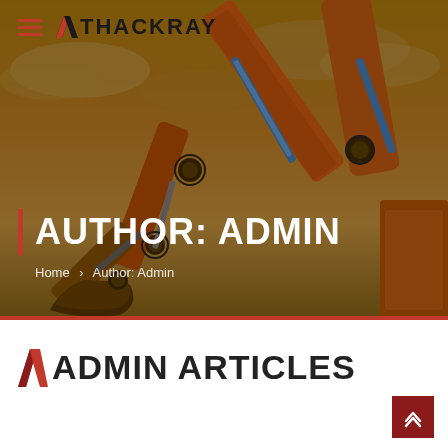[Figure (photo): Construction excavator arm with bucket against a sunset sky, used as hero background image for Thackray website]
THACKRAY
AUTHOR: ADMIN
Home > Author: Admin
ADMIN ARTICLES